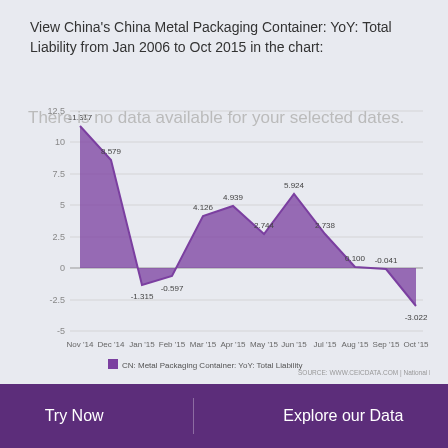View China's China Metal Packaging Container: YoY: Total Liability from Jan 2006 to Oct 2015 in the chart:
[Figure (area-chart): CN: Metal Packaging Container: YoY: Total Liability]
There is no data available for your selected dates.
China Metal Packaging Container: YoY: Total Profit: Year to Date
Try Now   Explore our Data